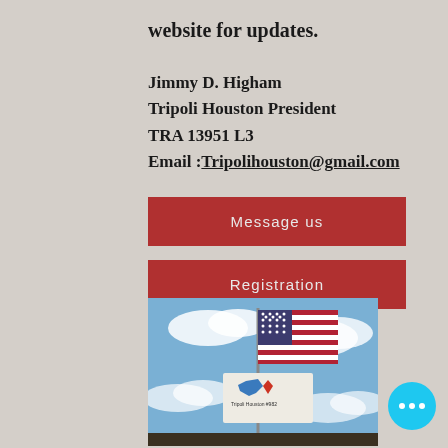website for updates.
Jimmy D. Higham
Tripoli Houston President
TRA 13951 L3
Email :Tripolihouston@gmail.com
Message us
Registration
[Figure (photo): Photo of an American flag and a Tripoli Houston rocket club flag flying against a blue sky with clouds. A banner reading 'Tripoli Houston #982' is visible on the lower flag.]